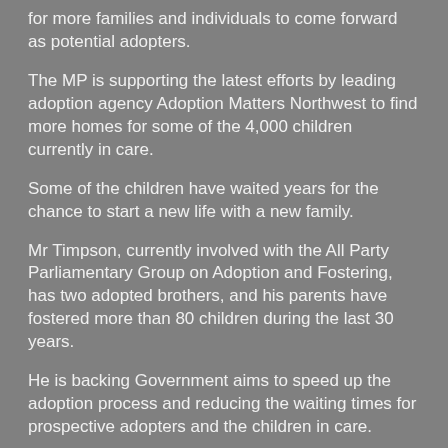for more families and individuals to come forward as potential adopters.
The MP is supporting the latest efforts by leading adoption agency Adoption Matters Northwest to find more homes for some of the 4,000 children currently in care.
Some of the children have waited years for the chance to start a new life with a new family.
Mr Timpson, currently involved with the All Party Parliamentary Group on Adoption and Fostering, has two adopted brothers, and his parents have fostered more than 80 children during the last 30 years.
He is backing Government aims to speed up the adoption process and reducing the waiting times for prospective adopters and the children in care.
Mr Timpson congratulated Adoption Matters North West on the success of its themed poetry competition, the latest initiative by the agency to raise awareness of the shortage of adoptive parents.